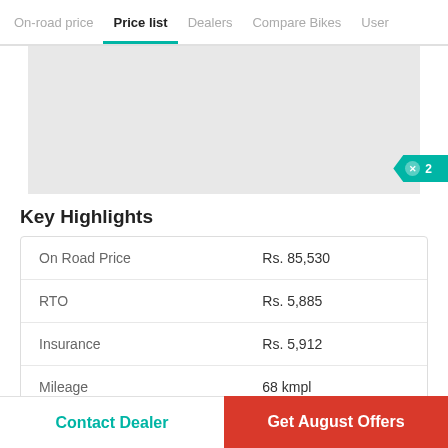On-road price | Price list | Dealers | Compare Bikes | User
[Figure (photo): Grey placeholder image area for a bike]
Key Highlights
| On Road Price | Rs. 85,530 |
| RTO | Rs. 5,885 |
| Insurance | Rs. 5,912 |
| Mileage | 68 kmpl |
Contact Dealer
Get August Offers